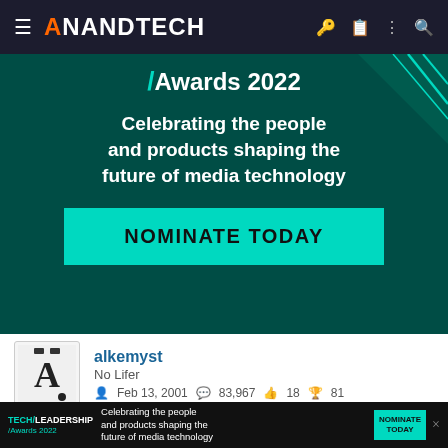≡ ANANDTECH
[Figure (screenshot): AnandTech Tech/Leadership Awards 2022 banner with dark teal background, teal slash-awards logo, white text 'Celebrating the people and products shaping the future of media technology', and cyan NOMINATE TODAY button]
alkemyst
No Lifer
Feb 13, 2001    83,967    18    81
This site uses cookies to help personalise content, tailor your experience and to keep you logged in if you register.
By continuing to use this site, you are consenting to our use of cookies.
[Figure (infographic): Bottom ad bar: Tech/Leadership Awards 2022 dark background ad with nominate today cyan button and X close button]